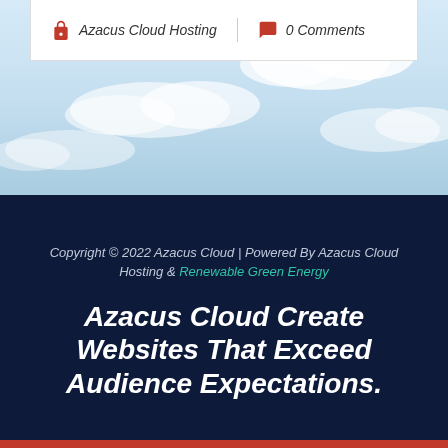[Figure (screenshot): A white card UI element showing author 'Azacus Cloud Hosting' with a red bag icon and '0 Comments' with a red speech bubble icon, displayed over a light blue sky background with clouds.]
Copyright © 2022 Azacus Cloud | Powered By Azacus Cloud Hosting & Renewable Green Energy
Azacus Cloud Create Websites That Exceed Audience Expectations.